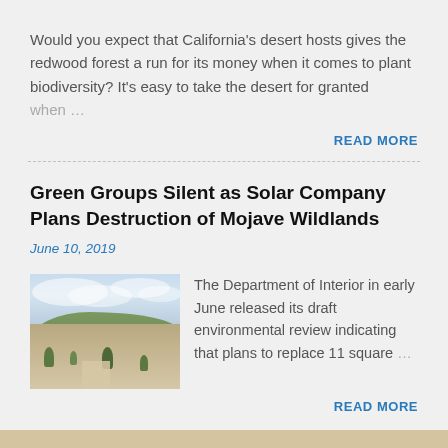Would you expect that California's desert hosts gives the redwood forest a run for its money when it comes to plant biodiversity?  It's easy to take the desert for granted when …
READ MORE
Green Groups Silent as Solar Company Plans Destruction of Mojave Wildlands
June 10, 2019
[Figure (photo): Desert landscape photo showing scrubby desert vegetation, sandy path, mountains in background with cloudy sky]
The Department of Interior in early June released its draft environmental review indicating that plans to replace 11 square …
READ MORE